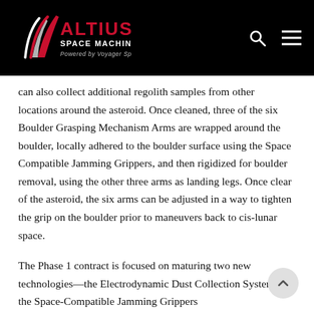[Figure (logo): Altius Space Machines logo — white text with red stylized wing/chevron mark on black background, 'Powered by Voyager Space' tagline beneath]
can also collect additional regolith samples from other locations around the asteroid. Once cleaned, three of the six Boulder Grasping Mechanism Arms are wrapped around the boulder, locally adhered to the boulder surface using the Space Compatible Jamming Grippers, and then rigidized for boulder removal, using the other three arms as landing legs. Once clear of the asteroid, the six arms can be adjusted in a way to tighten the grip on the boulder prior to maneuvers back to cis-lunar space.
The Phase 1 contract is focused on maturing two new technologies—the Electrodynamic Dust Collection System and the Space-Compatible Jamming Grippers